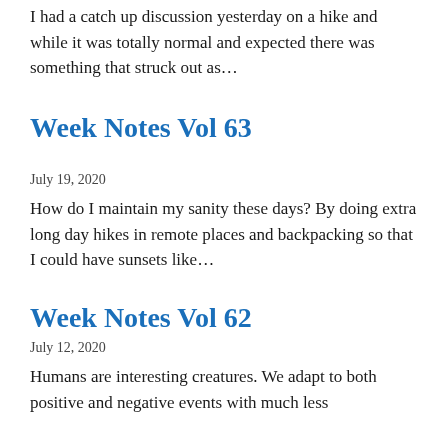I had a catch up discussion yesterday on a hike and while it was totally normal and expected there was something that struck out as…
Week Notes Vol 63
July 19, 2020
How do I maintain my sanity these days? By doing extra long day hikes in remote places and backpacking so that I could have sunsets like…
Week Notes Vol 62
July 12, 2020
Humans are interesting creatures. We adapt to both positive and negative events with much less